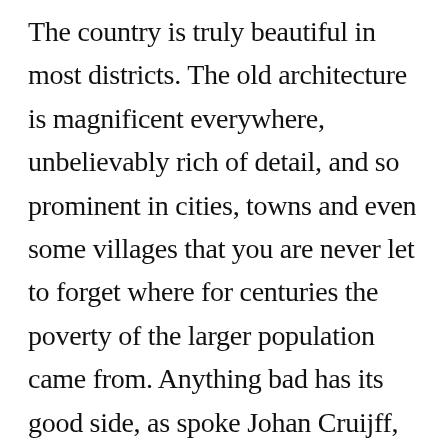The country is truly beautiful in most districts. The old architecture is magnificent everywhere, unbelievably rich of detail, and so prominent in cities, towns and even some villages that you are never let to forget where for centuries the poverty of the larger population came from. Anything bad has its good side, as spoke Johan Cruijff, the famous Dutch soccer star who, alas, recently died. The embarrassing riches of the past keep the Portuguese